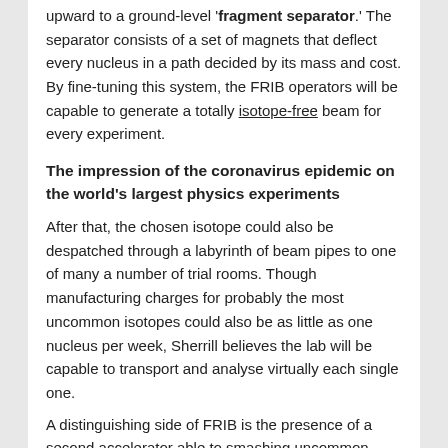upward to a ground-level 'fragment separator.' The separator consists of a set of magnets that deflect every nucleus in a path decided by its mass and cost. By fine-tuning this system, the FRIB operators will be capable to generate a totally isotope-free beam for every experiment.
The impression of the coronavirus epidemic on the world's largest physics experiments
After that, the chosen isotope could also be despatched through a labyrinth of beam pipes to one of many a number of trial rooms. Though manufacturing charges for probably the most uncommon isotopes could also be as little as one nucleus per week, Sherrill believes the lab will be capable to transport and analyse virtually each single one.
A distinguishing side of FRIB is the presence of a second accelerator able to smashing uncommon isotopes in opposition to a hard and fast goal, simulating the high-energy collisions that happen inside stars or supernovae. FRIB will initially function at a modest beam depth, however its accelerator will progressively ramp as much